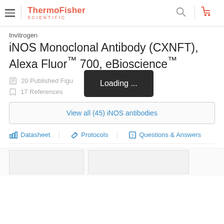ThermoFisher SCIENTIFIC
Invitrogen
iNOS Monoclonal Antibody (CXNFT), Alexa Fluor™ 700, eBioscience™
20 Published Figures
17 References
Loading ...
View all (45) iNOS antibodies
Datasheet    Protocols    Questions & Answers